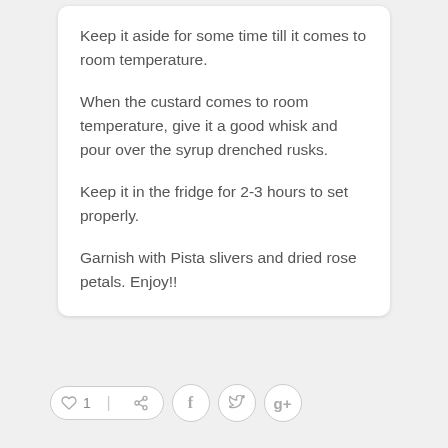Keep it aside for some time till it comes to room temperature.
When the custard comes to room temperature, give it a good whisk and pour over the syrup drenched rusks.
Keep it in the fridge for 2-3 hours to set properly.
Garnish with Pista slivers and dried rose petals. Enjoy!!